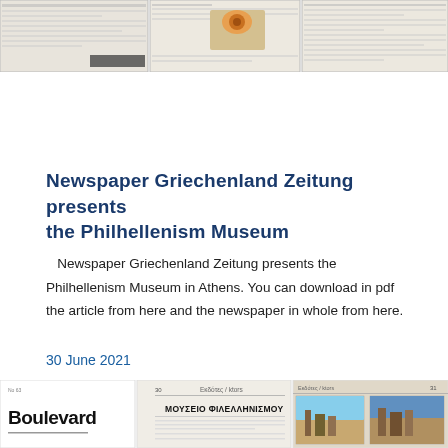[Figure (screenshot): Top strip showing three columns of newspaper page thumbnails in greyscale]
Newspaper Griechenland Zeitung presents the Philhellenism Museum
Newspaper Griechenland Zeitung presents the Philhellenism Museum in Athens. You can download in pdf the article from here and the newspaper in whole from here.
30 June 2021
[Figure (screenshot): Bottom strip showing Boulevard newspaper front page thumbnail and two interior page thumbnails including one with ΜΟΥΣΕΙΟ ΦΙΛΕΛΛΗΝΙΣΜΟΥ heading]